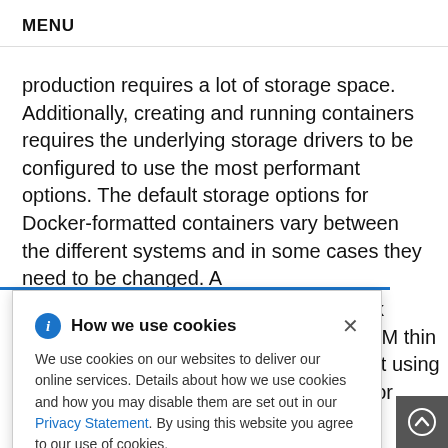MENU
production requires a lot of storage space. Additionally, creating and running containers requires the underlying storage drivers to be configured to use the most performant options. The default storage options for Docker-formatted containers vary between the different systems and in some cases they need to be changed. A
ack LVM thin hat using d for
How we use cookies

We use cookies on our websites to deliver our online services. Details about how we use cookies and how you may disable them are set out in our Privacy Statement. By using this website you agree to our use of cookies.